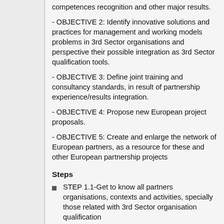competences recognition and other major results.
- OBJECTIVE 2: Identify innovative solutions and practices for management and working models problems in 3rd Sector organisations and perspective their possible integration as 3rd Sector qualification tools.
- OBJECTIVE 3: Define joint training and consultancy standards, in result of partnership experience/results integration.
- OBJECTIVE 4: Propose new European project proposals.
- OBJECTIVE 5: Create and enlarge the network of European partners, as a resource for these and other European partnership projects
Steps
STEP 1.1-Get to know all partners organisations, contexts and activities, specially those related with 3rd Sector organisation qualification
STEP 1.2-Get to know, gather and share